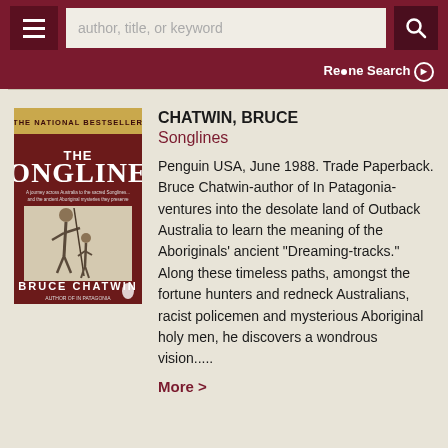author, title, or keyword
Refine Search
[Figure (illustration): Book cover of 'The Songlines' by Bruce Chatwin, showing two Aboriginal figures with spears on a dark reddish-brown background. Text at top reads 'THE NATIONAL BESTSELLER'. Title 'THE SONGLINES' in large white letters. Author name 'BRUCE CHATWIN' at bottom with Penguin Books logo.]
CHATWIN, BRUCE
Songlines
Penguin USA, June 1988. Trade Paperback. Bruce Chatwin-author of In Patagonia-ventures into the desolate land of Outback Australia to learn the meaning of the Aboriginals' ancient "Dreaming-tracks." Along these timeless paths, amongst the fortune hunters and redneck Australians, racist policemen and mysterious Aboriginal holy men, he discovers a wondrous vision.....
More >